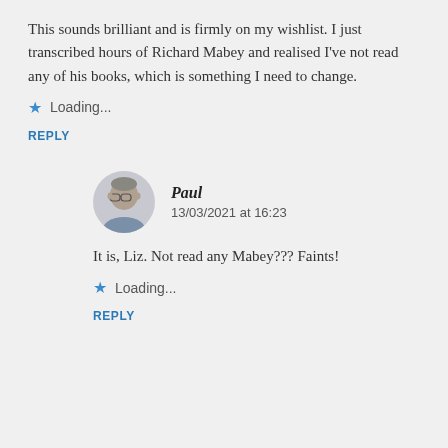This sounds brilliant and is firmly on my wishlist. I just transcribed hours of Richard Mabey and realised I've not read any of his books, which is something I need to change.
Loading...
REPLY
[Figure (photo): Avatar photo of commenter Paul, a middle-aged man with glasses]
Paul
13/03/2021 at 16:23
It is, Liz. Not read any Mabey??? Faints!
Loading...
REPLY